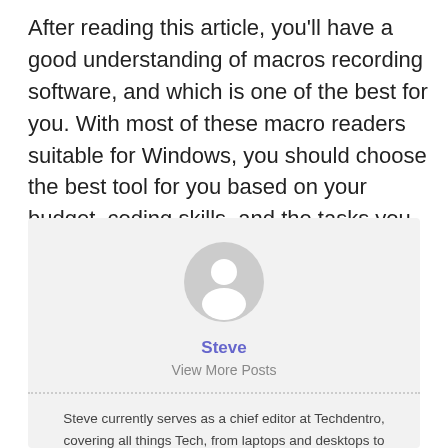After reading this article, you'll have a good understanding of macros recording software, and which is one of the best for you. With most of these macro readers suitable for Windows, you should choose the best tool for you based on your budget, coding skills, and the tasks you perform regularly.
[Figure (illustration): Circular grey user avatar icon with a silhouette of a person]
Steve
View More Posts
Steve currently serves as a chief editor at Techdentro, covering all things Tech, from laptops and desktops to keyboards and mice. He's also passionate about solving android mobile issues.